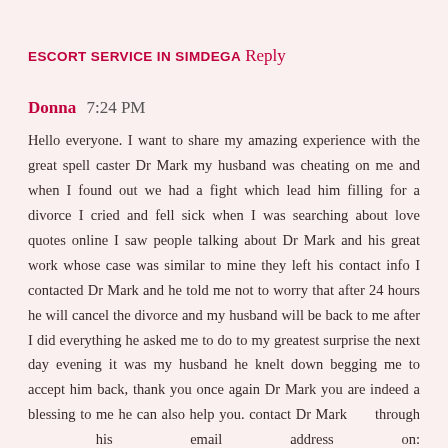ESCORT SERVICE IN SIMDEGA
Reply
Donna  7:24 PM
Hello everyone. I want to share my amazing experience with the great spell caster Dr Mark my husband was cheating on me and when I found out we had a fight which lead him filling for a divorce I cried and fell sick when I was searching about love quotes online I saw people talking about Dr Mark and his great work whose case was similar to mine they left his contact info I contacted Dr Mark and he told me not to worry that after 24 hours he will cancel the divorce and my husband will be back to me after I did everything he asked me to do to my greatest surprise the next day evening it was my husband he knelt down begging me to accept him back, thank you once again Dr Mark you are indeed a blessing to me he can also help you. contact Dr Mark through his email address on: blessedlovetemple@gmail.com He cure all kinds of sickness or diseases such as: HERPES VIRUS LASSA FEVER